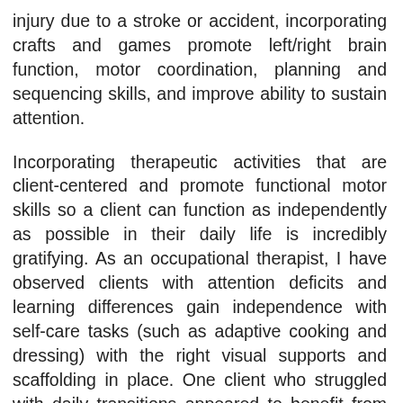injury due to a stroke or accident, incorporating crafts and games promote left/right brain function, motor coordination, planning and sequencing skills, and improve ability to sustain attention.
Incorporating therapeutic activities that are client-centered and promote functional motor skills so a client can function as independently as possible in their daily life is incredibly gratifying. As an occupational therapist, I have observed clients with attention deficits and learning differences gain independence with self-care tasks (such as adaptive cooking and dressing) with the right visual supports and scaffolding in place. One client who struggled with daily transitions appeared to benefit from preparing breakfast for himself upon arrival to school. In addition to increasing his sense of self-efficacy, the predictable and familiar motor task of stirring the ingredients together often appeared to produce a calming and modulating effect. Another client with fine motor delays developed adequate strength and